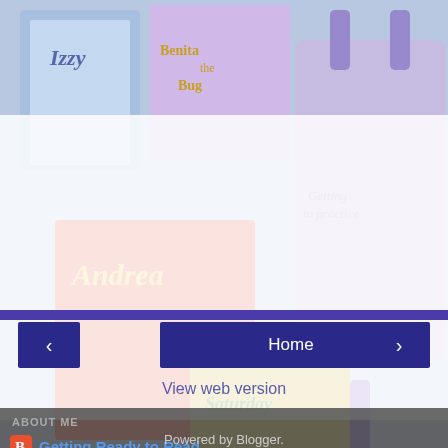[Figure (photo): Background photo of children's books and a purple tote bag on a table]
Getting Ready to Read at 18:55
Share
No comments:
Post a Comment
Home
View web version
ABOUT ME
Getting Ready to Read
View my complete profile
Powered by Blogger.